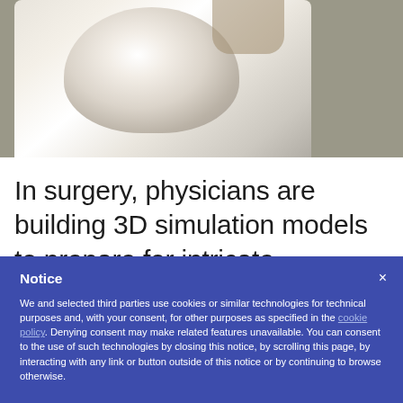[Figure (photo): A 3D printed white skull model shown from the front, with visible eye sockets and nasal cavity, against a blurred grey-green background]
In surgery, physicians are building 3D simulation models to prepare for intricate
Notice
We and selected third parties use cookies or similar technologies for technical purposes and, with your consent, for other purposes as specified in the cookie policy. Denying consent may make related features unavailable. You can consent to the use of such technologies by closing this notice, by scrolling this page, by interacting with any link or button outside of this notice or by continuing to browse otherwise.